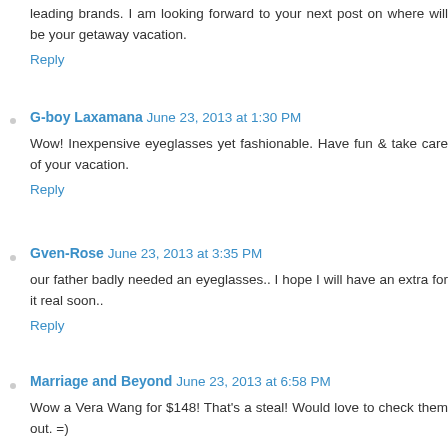leading brands. I am looking forward to your next post on where will be your getaway vacation.
Reply
G-boy Laxamana  June 23, 2013 at 1:30 PM
Wow! Inexpensive eyeglasses yet fashionable. Have fun & take care of your vacation.
Reply
Gven-Rose  June 23, 2013 at 3:35 PM
our father badly needed an eyeglasses.. I hope I will have an extra for it real soon..
Reply
Marriage and Beyond  June 23, 2013 at 6:58 PM
Wow a Vera Wang for $148! That's a steal! Would love to check them out. =)